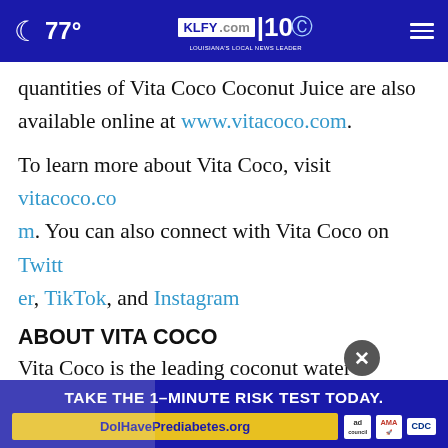77° KLFY.com 10
quantities of Vita Coco Coconut Juice are also available online at www.vitacoco.com.
To learn more about Vita Coco, visit vitacoco.com. You can also connect with Vita Coco on Twitter, TikTok, and Instagram
ABOUT VITA COCO
Vita Coco is the leading coconut water beverage brand, celebrated for bringing the benefits of coco... infor...
[Figure (screenshot): Ad banner: TAKE THE 1-MINUTE RISK TEST TODAY. DolHavePrediabetes.org with ad council, AMA, and CDC logos]